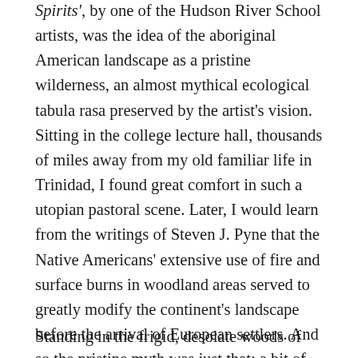Spirits', by one of the Hudson River School artists, was the idea of the aboriginal American landscape as a pristine wilderness, an almost mythical ecological tabula rasa preserved by the artist's vision. Sitting in the college lecture hall, thousands of miles away from my old familiar life in Trinidad, I found great comfort in such a utopian pastoral scene. Later, I would learn from the writings of Steven J. Pyne that the Native Americans' extensive use of fire and surface burns in woodland areas served to greatly modify the continent's landscape before the arrival of European settlers. And so the pristine myth was just that: a bit of mythopoetic license.
Standing in the frigid, desolate woods of